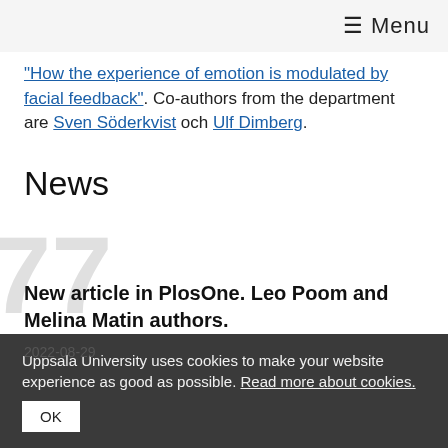≡ Menu
"How the experience of emotion is modulated by facial feedback". Co-authors from the department are Sven Söderkvist och Ulf Dimberg.
News
New article in PlosOne. Leo Poom and Melina Matin authors.
2022-08-29
Uppsala University uses cookies to make your website experience as good as possible. Read more about cookies.